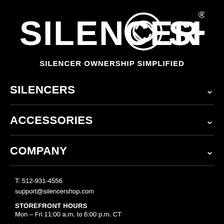[Figure (logo): Silencer Shop logo with circular icon between the words SILENCER and SHOP, with registered trademark symbol]
SILENCER OWNERSHIP SIMPLIFIED
SILENCERS
ACCESSORIES
COMPANY
T: 512-931-4556
support@silencershop.com
STOREFRONT HOURS
Mon - Fri 11:00 a.m. to 6:00 p.m. CT